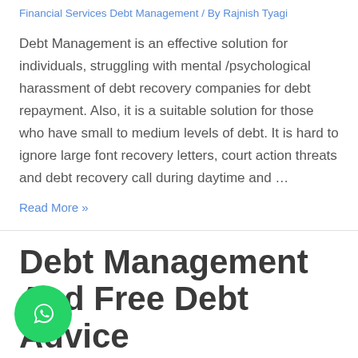Financial Services Debt Management / By Rajnish Tyagi
Debt Management is an effective solution for individuals, struggling with mental /psychological harassment of debt recovery companies for debt repayment. Also, it is a suitable solution for those who have small to medium levels of debt. It is hard to ignore large font recovery letters, court action threats and debt recovery call during daytime and …
Read More »
Debt Management And Free Debt Advice
Financial Services Debt Management / By Rajnish Tyagi